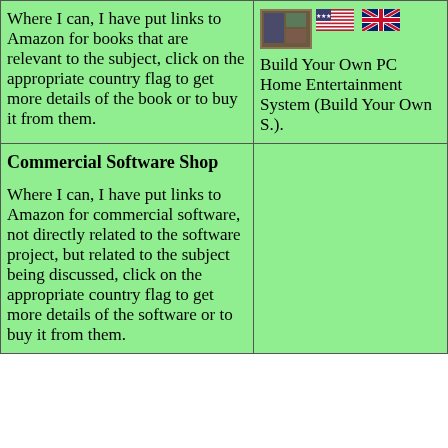Where I can, I have put links to Amazon for books that are relevant to the subject, click on the appropriate country flag to get more details of the book or to buy it from them.
[Figure (other): Book cover thumbnail and US/UK flags for Amazon links]
Build Your Own PC Home Entertainment System (Build Your Own S.).
Commercial Software Shop
Where I can, I have put links to Amazon for commercial software, not directly related to the software project, but related to the subject being discussed, click on the appropriate country flag to get more details of the software or to buy it from them.
This site may have errors. Don't use for critical systems.
Copyright (c) 1998-2022 Martin John Baker - All rights reserved - privacy policy.